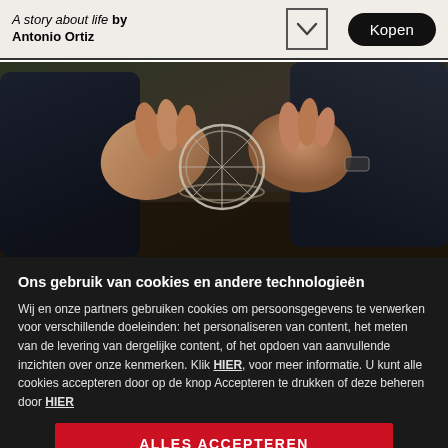A story about life by Antonio Ortiz
[Figure (photo): Close-up of hands working with a circular wire or metal object outdoors, person wearing dark clothing]
Ons gebruik van cookies en andere technologieën
Wij en onze partners gebruiken cookies om persoonsgegevens te verwerken voor verschillende doeleinden: het personaliseren van content, het meten van de levering van dergelijke content, of het opdoen van aanvullende inzichten over onze kenmerken. Klik HIER, voor meer informatie. U kunt alle cookies accepteren door op de knop Accepteren te drukken of deze beheren door HIER
ALLES ACCEPTEREN
Beheer cookies